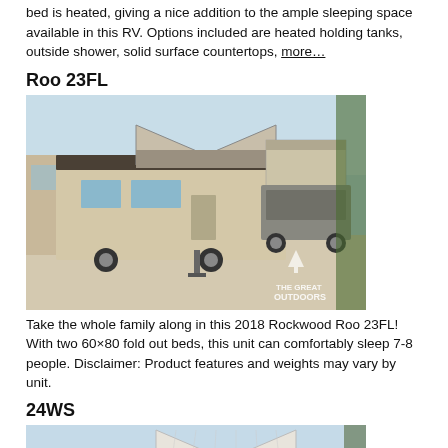bed is heated, giving a nice addition to the ample sleeping space available in this RV. Options included are heated holding tanks, outside shower, solid surface countertops, more…
Roo 23FL
[Figure (photo): Exterior photo of a 2018 Rockwood Roo 23FL pop-up hybrid travel trailer parked outdoors on a sunny day, with fold-out tent ends visible and another RV in the background. Great Outdoors watermark visible.]
Take the whole family along in this 2018 Rockwood Roo 23FL! With two 60×80 fold out beds, this unit can comfortably sleep 7-8 people. Disclaimer: Product features and weights may vary by unit.
24WS
[Figure (photo): Exterior photo of a Rockwood Roo 24WS hybrid trailer with white fold-out tent end raised, parked outdoors on a sunny day.]